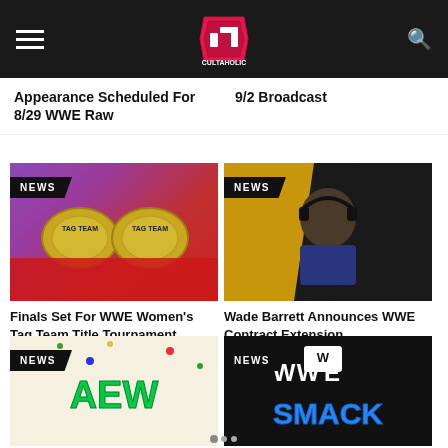Cultaholic
Appearance Scheduled For 8/29 WWE Raw
9/2 Broadcast
[Figure (photo): WWE Women's Tag Team Championship belts on red fabric]
Finals Set For WWE Women's Tag Team Title Tournament
[Figure (photo): Wade Barrett wearing headset at commentary desk with yellow and black background]
Wade Barrett Announces WWE Contract Extension
[Figure (photo): AEW colorful logo on white background]
[Figure (photo): WWE SmackDown logo on dark background]